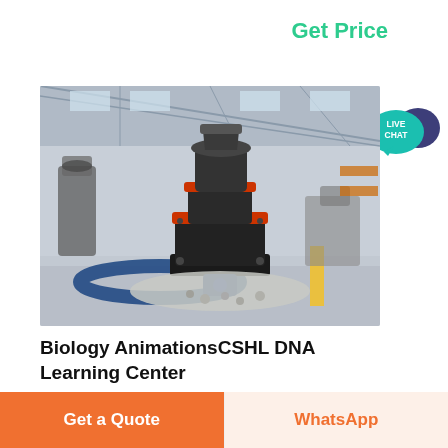Get Price
[Figure (photo): Industrial cone crusher machine in a large factory hall with gravel/aggregate material around it]
Biology AnimationsCSHL DNA Learning Center
DNALC animations feature stunning
Get a Quote
WhatsApp